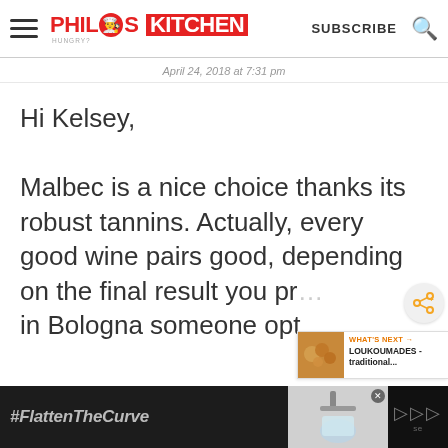Philos Kitchen — SUBSCRIBE
April 24, 2018 at 7:31 pm
Hi Kelsey,

Malbec is a nice choice thanks its robust tannins. Actually, every good wine pairs good, depending on the final result you pr… in Bologna someone opt
[Figure (screenshot): What's Next promo thumbnail showing LOUKOUMADES - traditional...]
[Figure (infographic): Ad banner with #FlattenTheCurve hashtag and handwashing image]